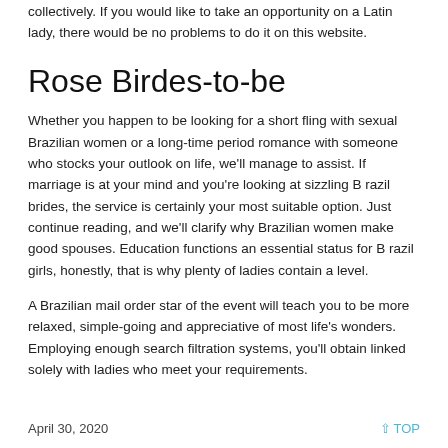collectively. If you would like to take an opportunity on a Latin lady, there would be no problems to do it on this website.
Rose Birdes-to-be
Whether you happen to be looking for a short fling with sexual Brazilian women or a long-time period romance with someone who stocks your outlook on life, we'll manage to assist. If marriage is at your mind and you're looking at sizzling B razil brides, the service is certainly your most suitable option. Just continue reading, and we'll clarify why Brazilian women make good spouses. Education functions an essential status for B razil girls, honestly, that is why plenty of ladies contain a level.
A Brazilian mail order star of the event will teach you to be more relaxed, simple-going and appreciative of most life's wonders. Employing enough search filtration systems, you'll obtain linked solely with ladies who meet your requirements.
April 30, 2020